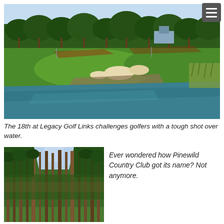[Figure (photo): Aerial view of the 18th hole at Legacy Golf Links showing a wide green fairway, sand bunkers, a water hazard (pond) in the foreground, and tall pine trees lining the background under a clear blue sky.]
The 18th at Legacy Golf Links challenges golfers with a tough shot over water.
[Figure (photo): Forest of tall pine trees at Pinewild Country Club, shot from below looking up at sky through the trunks.]
Ever wondered how Pinewild Country Club got its name? Not anymore.